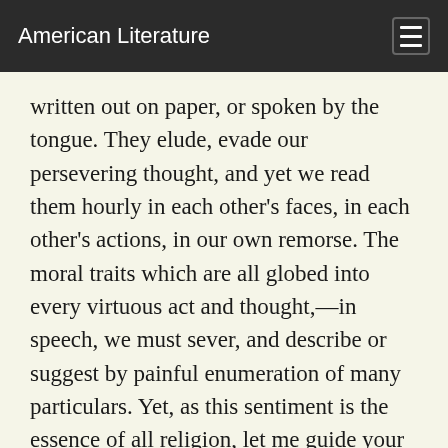American Literature
written out on paper, or spoken by the tongue. They elude, evade our persevering thought, and yet we read them hourly in each other's faces, in each other's actions, in our own remorse. The moral traits which are all globed into every virtuous act and thought,—in speech, we must sever, and describe or suggest by painful enumeration of many particulars. Yet, as this sentiment is the essence of all religion, let me guide your eye to the precise objects of the sentiment, by an enumeration of some of those classes of facts in which this element is conspicuous.
The intuition of the moral sentiment is an insight of